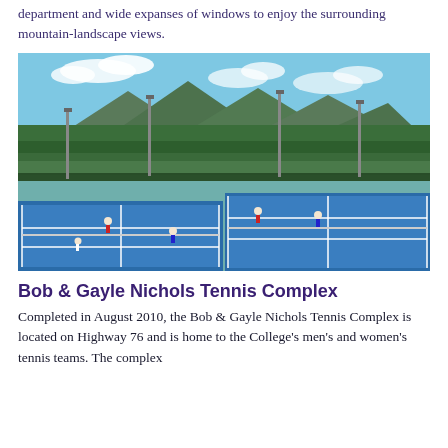department and wide expanses of windows to enjoy the surrounding mountain-landscape views.
[Figure (photo): Aerial view of blue tennis courts at the Bob & Gayle Nichols Tennis Complex with players on courts, surrounded by green trees and mountains in the background under a partly cloudy sky.]
Bob & Gayle Nichols Tennis Complex
Completed in August 2010, the Bob & Gayle Nichols Tennis Complex is located on Highway 76 and is home to the College's men's and women's tennis teams. The complex